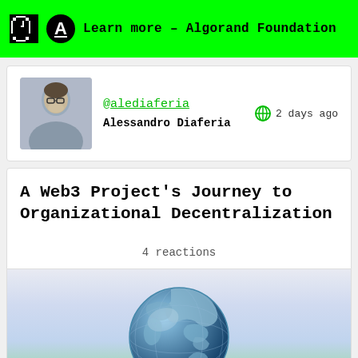Learn more – Algorand Foundation
@alediaferia
Alessandro Diaferia
2 days ago
A Web3 Project's Journey to Organizational Decentralization
4 reactions
[Figure (illustration): Globe showing Earth from space, blue tones, on a light gradient background]